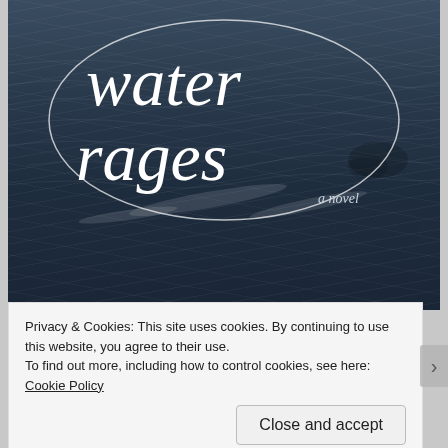[Figure (illustration): Book cover for 'Water Rages: a novel' by Jacquelyn Sill. Dark stormy ocean water background in navy/slate tones with white cursive script title 'water rages', subtitle 'a novel' in italic, and author name 'Jacquelyn Sill' in serif font at the bottom.]
Privacy & Cookies: This site uses cookies. By continuing to use this website, you agree to their use.
To find out more, including how to control cookies, see here: Cookie Policy
Close and accept